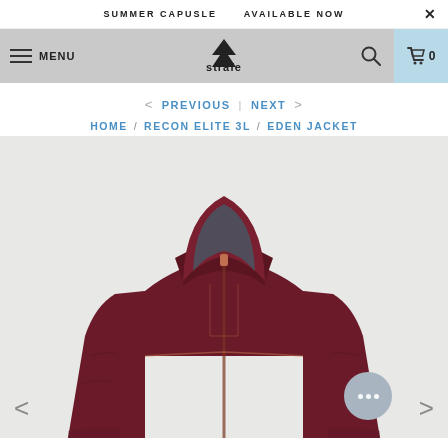SUMMER CAPUSLE   AVAILABLE NOW   ×
MENU  strafe  🔍  🛒 0
< PREVIOUS  |  NEXT >
HOME  /  RECON ELITE 3L  /  EDEN JACKET
[Figure (photo): Product photo of the Strafe Eden Jacket in dark maroon/burgundy and terracotta/salmon orange colorway, showing the hood and upper body portion of the jacket. The jacket has a two-tone color design with dark maroon on the upper portion and sleeves and a contrasting salmon/terracotta lower body section with a central zipper.]